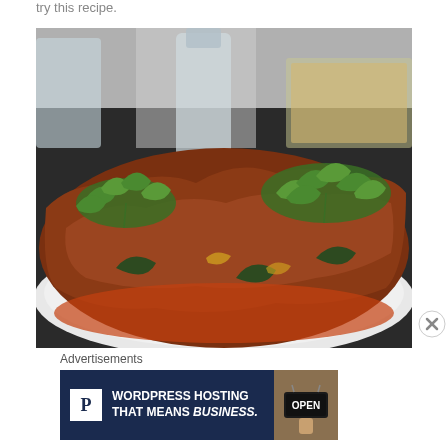try this recipe.
[Figure (photo): A plate of spiced meat curry garnished with fresh cilantro, served on a white oval plate with glasses and a dish of condiments in the background on a dark surface.]
Advertisements
[Figure (other): Advertisement banner for WordPress Hosting with 'P' logo icon on dark navy background with text 'WORDPRESS HOSTING THAT MEANS BUSINESS.' and an image of an OPEN sign on the right.]